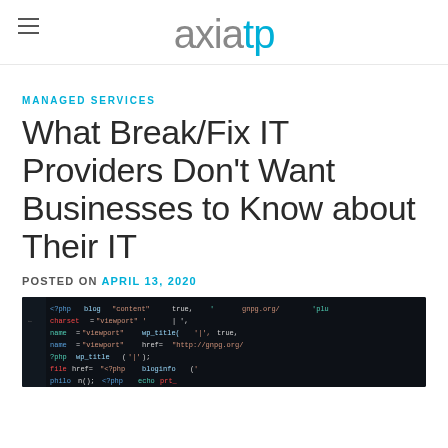axiatp
MANAGED SERVICES
What Break/Fix IT Providers Don't Want Businesses to Know about Their IT
POSTED ON APRIL 13, 2020
[Figure (photo): Close-up photo of a computer screen showing PHP/HTML code with colorful syntax highlighting on a dark background]